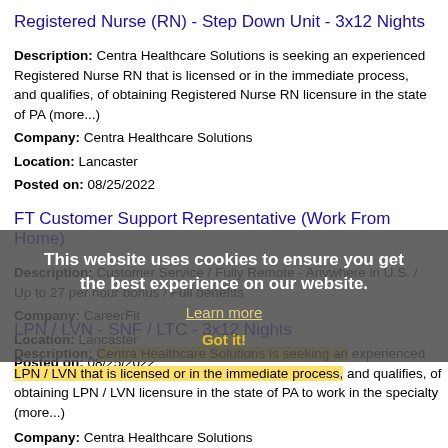Registered Nurse (RN) - Step Down Unit - 3x12 Nights
Description: Centra Healthcare Solutions is seeking an experienced Registered Nurse RN that is licensed or in the immediate process, and qualifies, of obtaining Registered Nurse RN licensure in the state of PA (more...)
Company: Centra Healthcare Solutions
Location: Lancaster
Posted on: 08/25/2022
FT Customer Support Representative (Work From Home)
Description: Customer Service / Fully Remote - Anywhere in U.S. / Up to 27 per hour bonus / Full benefits
Company: CareerFit
Location: Lancaster
Posted on: 08/25/2022
This website uses cookies to ensure you get the best experience on our website. Learn more Got it!
LPN / LVN - SNF / LTC - 3x12 Nights
Description: Centra Healthcare Solutions is seeking an experienced LPN / LVN that is licensed or in the immediate process, and qualifies, of obtaining LPN / LVN licensure in the state of PA to work in the specialty (more...)
Company: Centra Healthcare Solutions